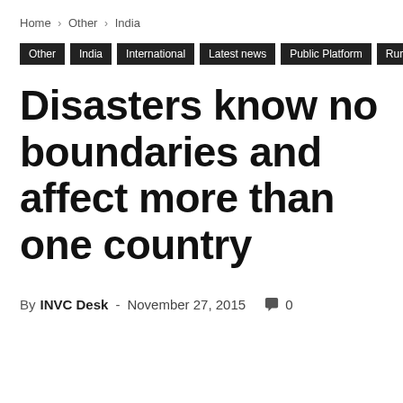Home › Other › India
Other
India
International
Latest news
Public Platform
Rural India
Disasters know no boundaries and affect more than one country
By INVC Desk - November 27, 2015  0